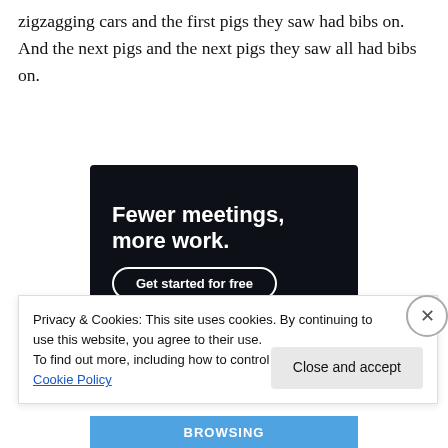zigzagging cars and the first pigs they saw had bibs on. And the next pigs and the next pigs they saw all had bibs on.
[Figure (other): Advertisement banner with dark background. Text reads 'Fewer meetings, more work.' with a 'Get started for free' button.]
Privacy & Cookies: This site uses cookies. By continuing to use this website, you agree to their use.
To find out more, including how to control cookies, see here: Cookie Policy
Close and accept